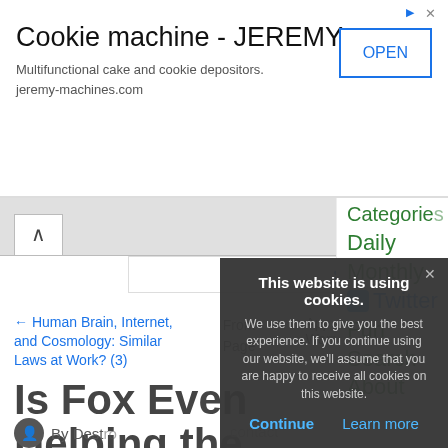[Figure (screenshot): Advertisement banner for Cookie machine - JEREMY. Shows title 'Cookie machine - JEREMY', subtitle 'Multifunctional cake and cookie depositors. jeremy-machines.com', and an OPEN button. Ad icons top right.]
Sign In · Register · Forgot passw
← Human Brain, Internet, and Cosmology: Similar Laws at Work? (3)
Front Page
App Warran
Categories
Daily
Monthly
Twitter
Fun
Search
About
Is Fox Even Helping the Republicans Anymore?
By Dest
This website is using cookies.
We use them to give you the best experience. If you continue using our website, we'll assume that you are happy to receive all cookies on this website.
Continue   Learn more